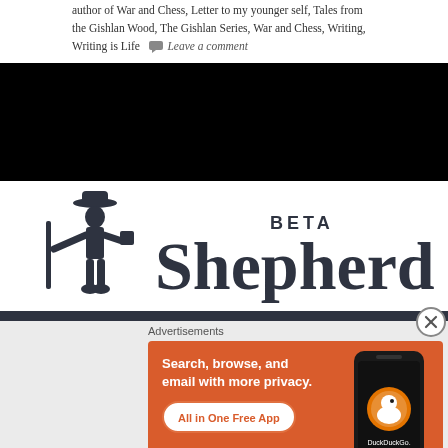author of War and Chess, Letter to my younger self, Tales from the Gishlan Wood, The Gishlan Series, War and Chess, Writing, Writing is Life  Leave a comment
[Figure (screenshot): Black bar / banner area (advertisement or video player placeholder)]
[Figure (logo): Shepherd BETA logo with shepherd figure silhouette and bold text 'Shepherd' with superscript 'BETA']
Advertisements
[Figure (screenshot): DuckDuckGo advertisement banner: orange background with text 'Search, browse, and email with more privacy. All in One Free App' and a phone showing DuckDuckGo app, with close button (X)]